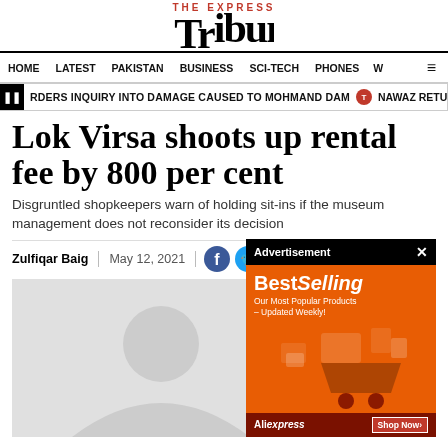THE EXPRESS Tribune
HOME   LATEST   PAKISTAN   BUSINESS   SCI-TECH   PHONES   W
RDERS INQUIRY INTO DAMAGE CAUSED TO MOHMAND DAM   NAWAZ RETURNS T
Lok Virsa shoots up rental fee by 800 per cent
Disgruntled shopkeepers warn of holding sit-ins if the museum management does not reconsider its decision
Zulfiqar Baig   May 12, 2021
[Figure (photo): Article image placeholder showing a person silhouette on grey background]
[Figure (photo): Advertisement banner for AliExpress BestSelling products on orange background]